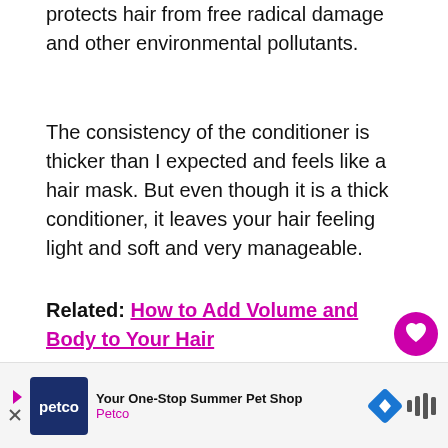protects hair from free radical damage and other environmental pollutants.
The consistency of the conditioner is thicker than I expected and feels like a hair mask. But even though it is a thick conditioner, it leaves your hair feeling light and soft and very manageable.
Related: How to Add Volume and Body to Your Hair
[Figure (screenshot): Petco advertisement banner: Your One-Stop Summer Pet Shop]